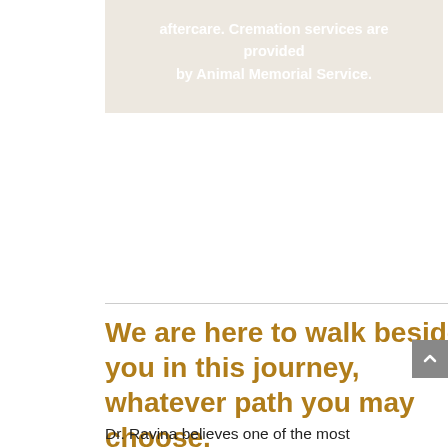aftercare. Cremation services are provided by Animal Memorial Service.
We are here to walk beside you in this journey, whatever path you may choose.
Dr. Ravina believes one of the most